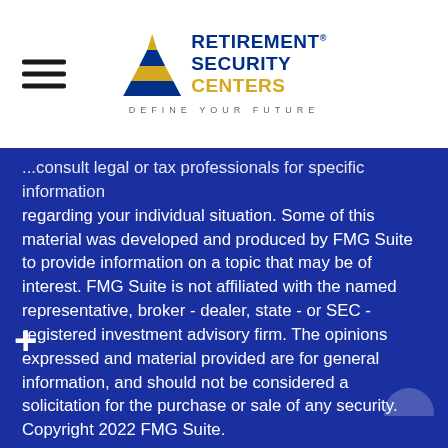[Figure (logo): Retirement Security Centers logo with pyramid graphic and tagline 'DEFINE YOUR FUTURE']
...consult legal or tax professionals for specific information regarding your individual situation. Some of this material was developed and produced by FMG Suite to provide information on a topic that may be of interest. FMG Suite is not affiliated with the named representative, broker - dealer, state - or SEC - registered investment advisory firm. The opinions expressed and material provided are for general information, and should not be considered a solicitation for the purchase or sale of any security.

We take protecting your data and privacy very seriously. As of January 1, 2020 the California Consumer Privacy Act (CCPA) suggests the following link as an extra measure to safeguard your data: Do not sell my personal information.
Copyright 2022 FMG Suite.